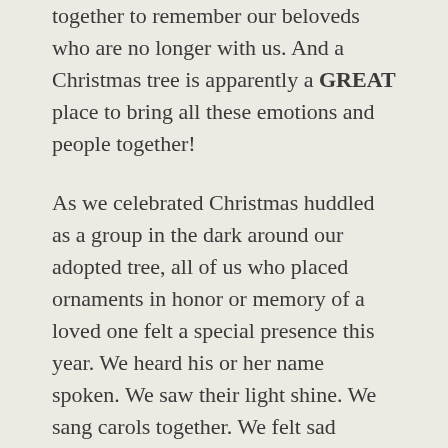together to remember our beloveds who are no longer with us. And a Christmas tree is apparently a GREAT place to bring all these emotions and people together!
As we celebrated Christmas huddled as a group in the dark around our adopted tree, all of us who placed ornaments in honor or memory of a loved one felt a special presence this year. We heard his or her name spoken. We saw their light shine. We sang carols together. We felt sad together and we felt joy together. That is the definition of love and the definition of community.
And, before we parted ways, we agreed to do it again next year. That big but ordinary tree is